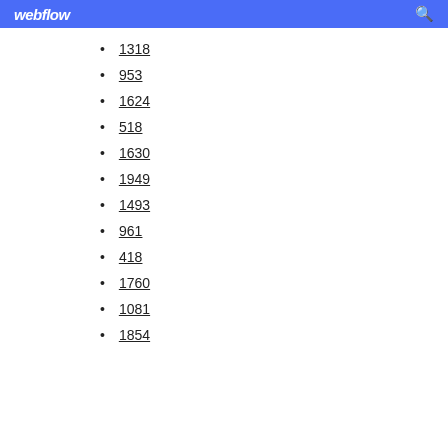webflow
1318
953
1624
518
1630
1949
1493
961
418
1760
1081
1854